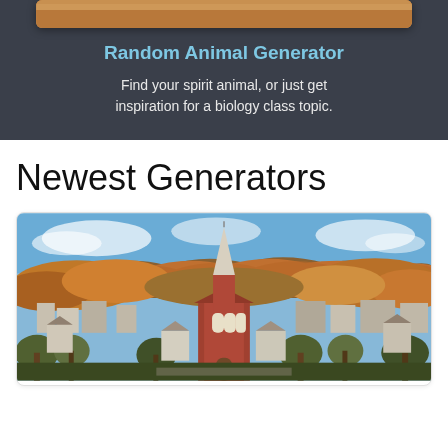[Figure (photo): Top portion of an animal photo (fur/feathers visible, cropped), shown inside a card with dark background]
Random Animal Generator
Find your spirit animal, or just get inspiration for a biology class topic.
Newest Generators
[Figure (photo): Aerial/elevated photo of a small New England town in autumn, featuring a prominent red brick church with a tall white steeple, colorful fall foliage trees covering hills, and residential buildings spread across the town.]